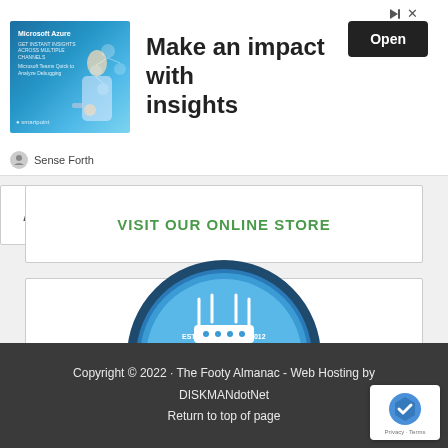[Figure (screenshot): Advertisement banner: image of woman with business analytics graphics on left, headline 'Make an impact with insights', Open button on right, Sense Forth sponsor label at bottom, play and close icons top right]
VISIT OUR ONLINE STORE
[Figure (logo): Interchanger logo: circular badge with blue background, router/antenna graphic, red ribbon banner reading INTERCHANGER, text ESTD 2012]
Copyright © 2022 · The Footy Almanac - Web Hosting by DISKMANdotNet
Return to top of page